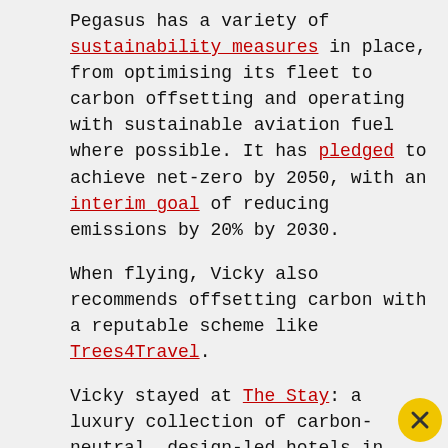Pegasus has a variety of sustainability measures in place, from optimising its fleet to carbon offsetting and operating with sustainable aviation fuel where possible. It has pledged to achieve net-zero by 2050, with an interim goal of reducing emissions by 20% by 2030.
When flying, Vicky also recommends offsetting carbon with a reputable scheme like Trees4Travel.
Vicky stayed at The Stay: a luxury collection of carbon-neutral, design-led hotels in Istanbul and Alaçatı. Part of the Nu People group, which includes restaurants like the legendary Pandeli, the company even has its own eco-conscious clothes label - The Stay Line - and plans to become zero-waste by December 2022. Istanbul B&B summer